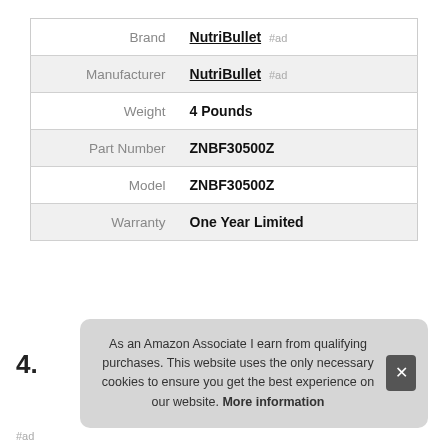| Attribute | Value |
| --- | --- |
| Brand | NutriBullet #ad |
| Manufacturer | NutriBullet #ad |
| Weight | 4 Pounds |
| Part Number | ZNBF30500Z |
| Model | ZNBF30500Z |
| Warranty | One Year Limited |
More information #ad
4.
As an Amazon Associate I earn from qualifying purchases. This website uses the only necessary cookies to ensure you get the best experience on our website. More information
#ad